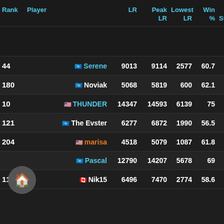| Rank | Player | LR | Peak LR | Lowest LR | Win % | Win Streak | Ever Play |
| --- | --- | --- | --- | --- | --- | --- | --- |
| 44 | Serene | 9013 | 9114 | 2577 | 60.7 | -1 | 12 |
| 180 | Noviak | 5068 | 5819 | 600 | 62.1 | 1 | 12 |
| 10 | THUNDER | 14347 | 14593 | 6139 | 75 | 6 | 12 |
| 121 | The Evster | 6277 | 6872 | 1990 | 56.5 | -1 | 11 |
| 204 | marisa | 4518 | 5079 | 1087 | 61.8 | -1 | 11 |
|  | Pascal | 12790 | 14207 | 5678 | 69 | -1 | 11 |
| 113 | Nik15 | 6496 | 7470 | 2774 | 58.6 | 4 | 11 |